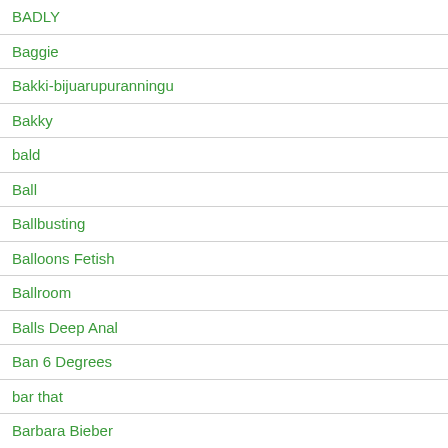BADLY
Baggie
Bakki-bijuarupuranningu
Bakky
bald
Ball
Ballbusting
Balloons Fetish
Ballroom
Balls Deep Anal
Ban 6 Degrees
bar that
Barbara Bieber